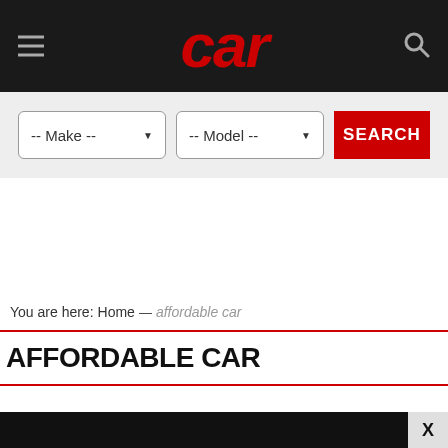car
-- Make --   -- Model --   SEARCH
You are here: Home → affordable car
AFFORDABLE CAR